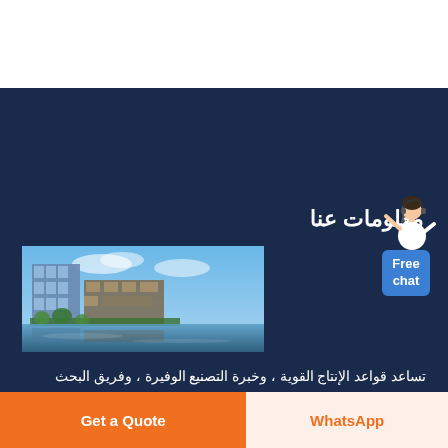معلومات عنا
[Figure (photo): Modern waterfront office buildings complex with blue sky and reflective lake in foreground]
[Figure (illustration): Customer service avatar (woman with headset, white top) above a blue 'Free chat' badge]
تساعد قواعد الإنتاج القوية ، وخبرة التصنيع الوفيرة ، وفريق البحث المحترف في التطوير المتعمق لآلات التعدين. يمكن أن تفي أنواع ونماذج المنتجات
Get a Quote
WhatsApp